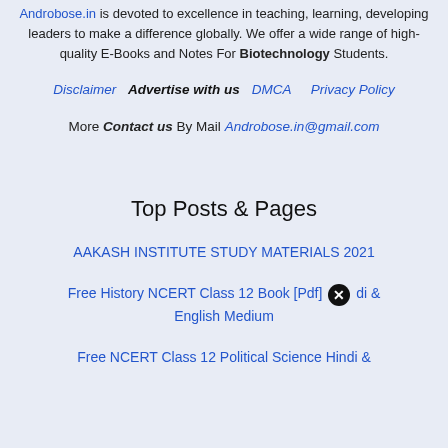Androbose.in is devoted to excellence in teaching, learning, developing leaders to make a difference globally. We offer a wide range of high-quality E-Books and Notes For Biotechnology Students.
Disclaimer  Advertise with us  DMCA  Privacy Policy
More Contact us By Mail Androbose.in@gmail.com
Top Posts & Pages
AAKASH INSTITUTE STUDY MATERIALS 2021
Free History NCERT Class 12 Book [Pdf] Hindi & English Medium
Free NCERT Class 12 Political Science Hindi &